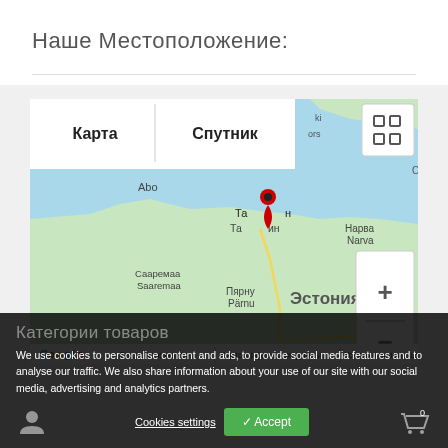Наше Местоположение:
[Figure (map): Google Maps showing Estonia and surrounding region with a red location pin on Tallinn. Map controls show 'Карта' and 'Спутник' buttons, zoom +/- controls, fullscreen button. Labels include Abo, Таллин/Tallinn, Нарва/Narva, Сааремаа/Saaremaa, Пярну/Pärnu, Эстония. Bottom bar shows: Быстрые клавиши | Картографические данные | Условия использования. Google logo visible.]
Категории товаров
We use cookies to personalise content and ads, to provide social media features and to analyse our traffic. We also share information about your use of our site with our social media, advertising and analytics partners.
Cookies settings
✓ Accept